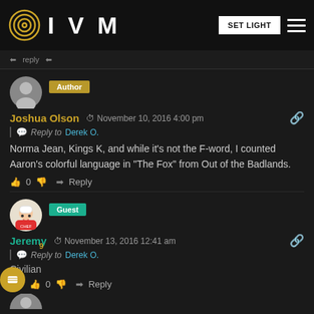IVM — SET LIGHT navigation header
Reply to
Joshua Olson — November 10, 2016 4:00 pm — Reply to Derek O. — Norma Jean, Kings K, and while it's not the F-word, I counted Aaron's colorful language in "The Fox" from Out of the Badlands. — 0 Reply
Jeremy — November 13, 2016 12:41 am — Reply to Derek O. — Civilian — 0 Reply